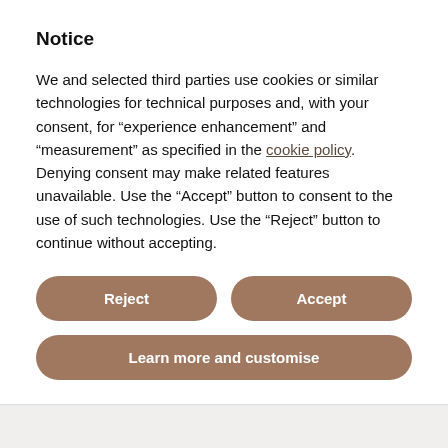Notice
We and selected third parties use cookies or similar technologies for technical purposes and, with your consent, for “experience enhancement” and “measurement” as specified in the cookie policy. Denying consent may make related features unavailable. Use the “Accept” button to consent to the use of such technologies. Use the “Reject” button to continue without accepting.
Reject
Accept
Learn more and customise
PAIR IT WITH
RECENTLY SEEN